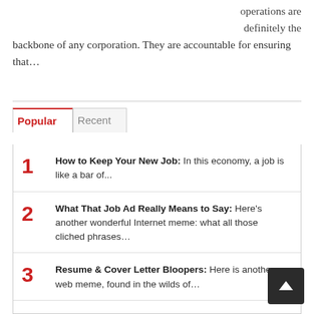operations are definitely the backbone of any corporation. They are accountable for ensuring that…
1. How to Keep Your New Job: In this economy, a job is like a bar of...
2. What That Job Ad Really Means to Say: Here's another wonderful Internet meme: what all those cliched phrases…
3. Resume & Cover Letter Bloopers: Here is another web meme, found in the wilds of…
4. Job Interview Attire — for Women: The rules for proper business attire for men are quite…